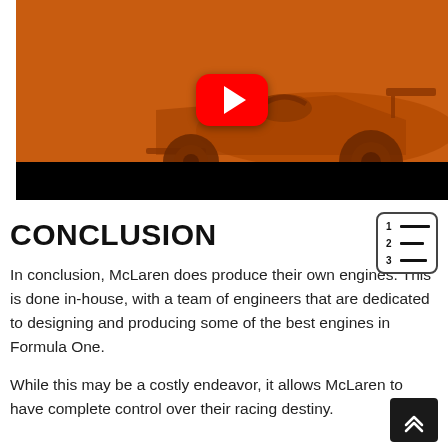[Figure (screenshot): YouTube video thumbnail showing a McLaren Formula One car on an orange-tinted background with a red YouTube play button in the center, and a black control bar at the bottom.]
CONCLUSION
In conclusion, McLaren does produce their own engines. This is done in-house, with a team of engineers that are dedicated to designing and producing some of the best engines in Formula One.
While this may be a costly endeavor, it allows McLaren to have complete control over their racing destiny.